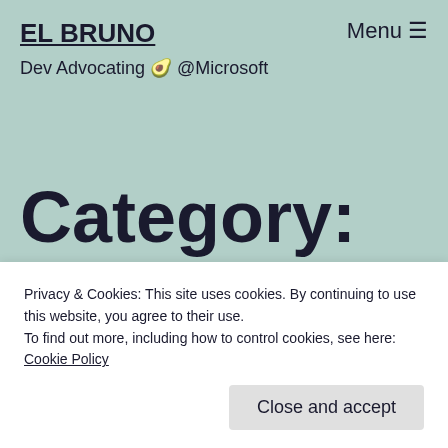EL BRUNO
Dev Advocating 🥑 @Microsoft
Category: Mixed Reality
Privacy & Cookies: This site uses cookies. By continuing to use this website, you agree to their use.
To find out more, including how to control cookies, see here: Cookie Policy
Close and accept